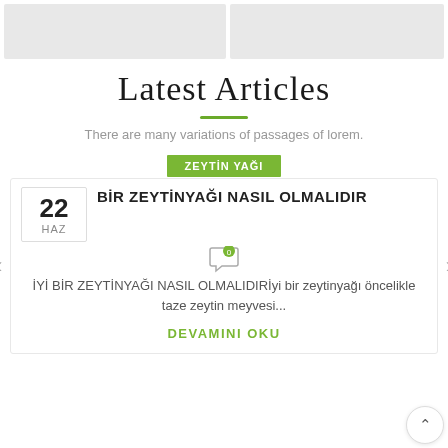[Figure (other): Two gray placeholder image boxes side by side at the top of the page]
Latest Articles
There are many variations of passages of lorem.
ZEYTİN YAĞI
22
HAZ
BİR ZEYTİNYAĞI NASIL OLMALIDIR
İYİ BİR ZEYTİNYAĞI NASIL OLMALIDIRİyi bir zeytinyağı öncelikle taze zeytin meyvesi...
DEVAMINI OKU